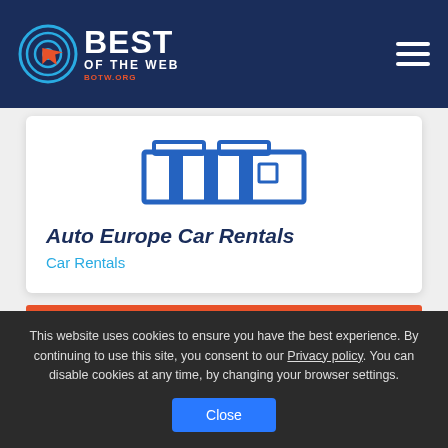BEST OF THE WEB — botw.org
[Figure (logo): BOTW.org Best of the Web logo with circular target icon and orange cursor arrow]
[Figure (illustration): Blue outline icon of a car rental building/dealership with cars]
Auto Europe Car Rentals
Car Rentals
This website uses cookies to ensure you have the best experience. By continuing to use this site, you consent to our Privacy policy. You can disable cookies at any time, by changing your browser settings.
Close